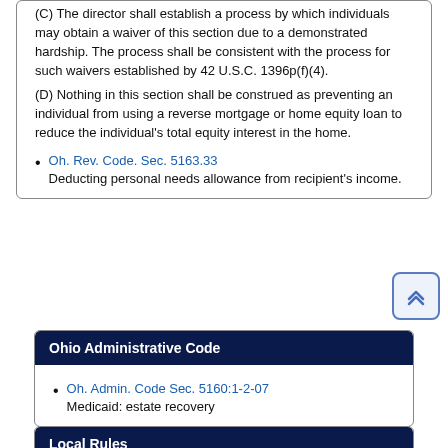(C) The director shall establish a process by which individuals may obtain a waiver of this section due to a demonstrated hardship. The process shall be consistent with the process for such waivers established by 42 U.S.C. 1396p(f)(4).
(D) Nothing in this section shall be construed as preventing an individual from using a reverse mortgage or home equity loan to reduce the individual's total equity interest in the home.
Oh. Rev. Code. Sec. 5163.33
Deducting personal needs allowance from recipient's income.
Ohio Administrative Code
Oh. Admin. Code Sec. 5160:1-2-07
Medicaid: estate recovery
Local Rules
Franklin County Probate Court Local Rule 78.10
Special needs trusts and medicaid trusts